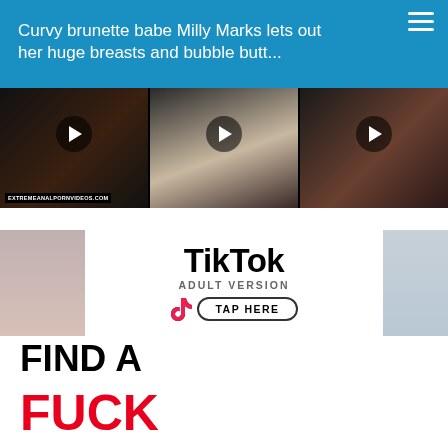Curvy brunette babe Milly Marks lets out her huge breasts and bubble butt...
[Figure (screenshot): Three video thumbnails in a horizontal strip with play buttons, first thumbnail has site label EXTREMEANALPORNVIDEOS.COM]
[Figure (screenshot): TikTok Adult Version advertisement banner with TAP HERE button and tiktok logo, flanked by images on left and right]
FIND A
FUCK